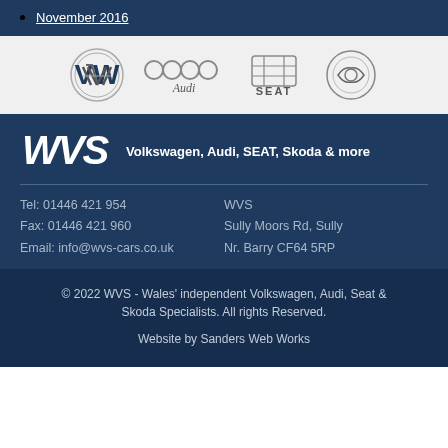November 2016
[Figure (logo): Four car brand logos: Volkswagen (VW), Audi (four rings), SEAT, and Skoda arranged in a row on a light grey background]
[Figure (logo): WVS logo in bold white italic text]
Volkswagen, Audi, SEAT, Skoda & more
Tel: 01446 421 954
Fax: 01446 421 960
Email: info@wvs-cars.co.uk
WVS
Sully Moors Rd, Sully
Nr. Barry CF64 5RP
© 2022 WVS - Wales' independent Volkswagen, Audi, Seat & Skoda Specialists. All rights Reserved.

Website by Sanders Web Works